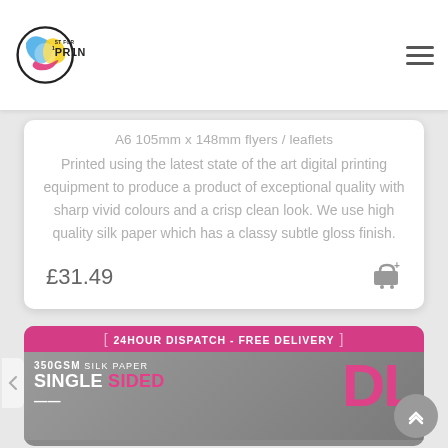1st for Print - logo and navigation
A6 105mm x 148mm flyers / leaflets
Printed using the latest state of the art digital printing equipment to produce a product of exceptional quality with sharp vivid colours and a crisp clean look. We use high quality silk paper which has a classy subtle gloss finish.
£31.49
[Figure (screenshot): 24HOUR DISPATCH - FREE DELIVERY banner with 350GSM SILK PAPER SINGLE SIDED DL product card in pink and grey]